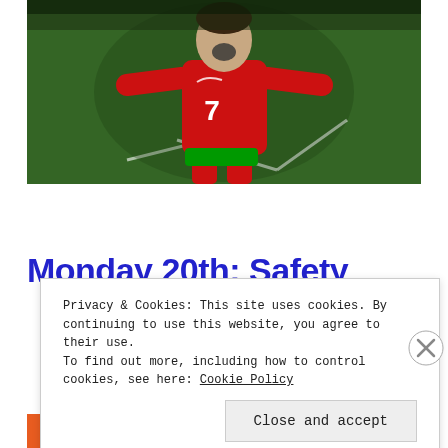[Figure (photo): Soccer player wearing red Portugal jersey number 7 (Cristiano Ronaldo) celebrating with arms outstretched on a green field]
Monday 20th: Safety
Privacy & Cookies: This site uses cookies. By continuing to use this website, you agree to their use.
To find out more, including how to control cookies, see here: Cookie Policy
Close and accept
All in One Free App   DuckDuckGo